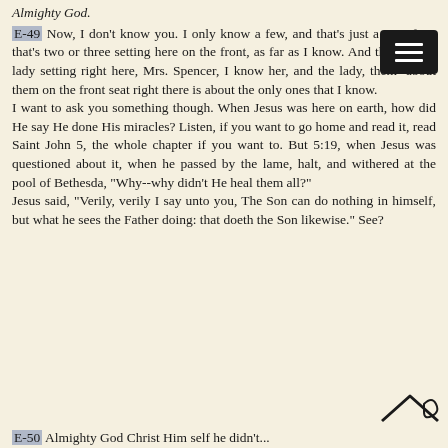Almighty God.
E-49 Now, I don't know you. I only know a few, and that's just a very few; that's two or three setting here on the front, as far as I know. And this elderly lady setting right here, Mrs. Spencer, I know her, and the lady, them--about them on the front seat right there is about the only ones that I know.
I want to ask you something though. When Jesus was here on earth, how did He say He done His miracles? Listen, if you want to go home and read it, read Saint John 5, the whole chapter if you want to. But 5:19, when Jesus was questioned about it, when he passed by the lame, halt, and withered at the pool of Bethesda, "Why--why didn't He heal them all?"
Jesus said, "Verily, verily I say unto you, The Son can do nothing in himself, but what he sees the Father doing: that doeth the Son likewise." See?
Almighty God Christ Him self he didn't...